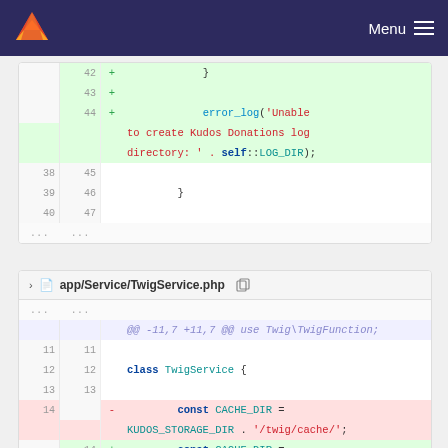Menu
[Figure (screenshot): GitLab diff view showing two file diffs. First diff (top) shows added lines 42-44 with error_log call and context lines 38-40/45-47. Second diff (bottom) shows app/Service/TwigService.php with hunk header @@-11,7 +11,7 @@ use Twig\TwigFunction; and lines 11-14 showing class TwigService and const CACHE_DIR changes.]